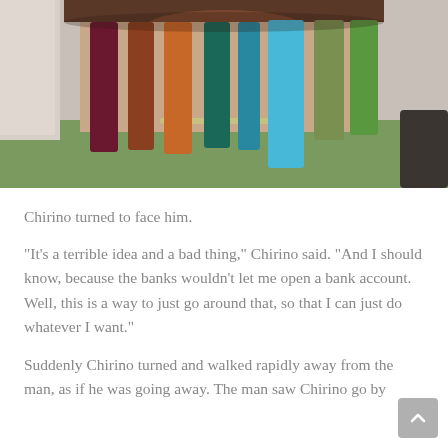[Figure (photo): Close-up photo of colorful ribbons (dark red/maroon, orange, teal, light blue, green) hanging from what appears to be a plaited or woven structure, on a green surface background.]
Chirino turned to face him.
“It’s a terrible idea and a bad thing,” Chirino said. “And I should know, because the banks wouldn’t let me open a bank account. Well, this is a way to just go around that, so that I can just do whatever I want.”
Suddenly Chirino turned and walked rapidly away from the man, as if he was going away. The man saw Chirino go by